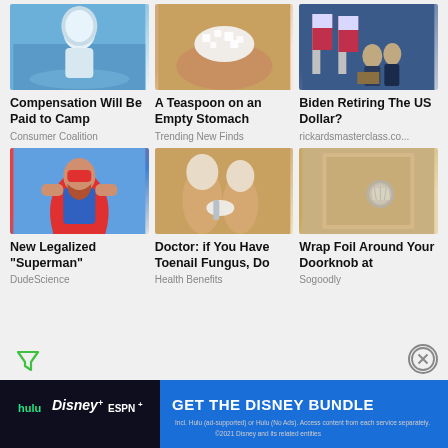[Figure (photo): Scientist in white hazmat suit near water]
Compensation Will Be Paid to Camp
Consumer Coalition
[Figure (photo): Hand holding white crystals (salt or similar substance)]
A Teaspoon on an Empty Stomach
Trending New Finds
[Figure (photo): Biden at podium with US flags]
Biden Retiring The US Dollar?
rickardsmasterclass.co...
[Figure (photo): Man dressed as superhero flexing muscles]
New Legalized "Superman"
DudeScience
[Figure (photo): Toenail fungus treatment close-up]
Doctor: if You Have Toenail Fungus, Do
Health Benefits
[Figure (photo): Foil wrapped around a doorknob]
Wrap Foil Around Your Doorknob at
Sogoodly
[Figure (infographic): Disney Bundle advertisement banner — GET THE DISNEY BUNDLE with Hulu, Disney+, ESPN+ logos]
Incl. Hulu (ad-supported) or Hulu (No Ads). Access content from each service separately. ©2021 Disney and its related entities